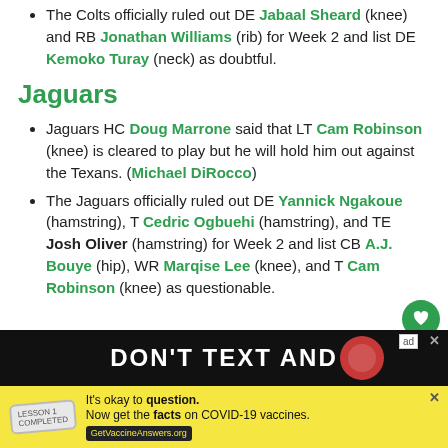The Colts officially ruled out DE Jabaal Sheard (knee) and RB Jonathan Williams (rib) for Week 2 and list DE Kemoko Turay (neck) as doubtful.
Jaguars
Jaguars HC Doug Marrone said that LT Cam Robinson (knee) is cleared to play but he will hold him out against the Texans. (Michael DiRocco)
The Jaguars officially ruled out DE Yannick Ngakoue (hamstring), T Cedric Ogbuehi (hamstring), and TE Josh Oliver (hamstring) for Week 2 and list CB A.J. Bouye (hip), WR Marqise Lee (knee), and T Cam Robinson (knee) as questionable.
[Figure (infographic): Advertisement banner: top portion shows 'DON'T TEXT AND' on dark background with graphic elements. Bottom portion is a yellow COVID-19 vaccine information ad reading 'It's okay to question. Now get the facts on COVID-19 vaccines. GetVaccineAnswers.org']